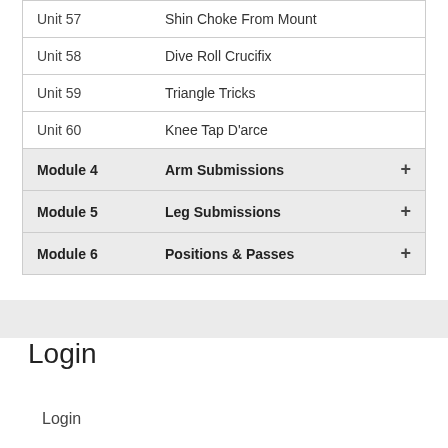| Unit 57 | Shin Choke From Mount |  |
| Unit 58 | Dive Roll Crucifix |  |
| Unit 59 | Triangle Tricks |  |
| Unit 60 | Knee Tap D'arce |  |
| Module 4 | Arm Submissions | + |
| Module 5 | Leg Submissions | + |
| Module 6 | Positions & Passes | + |
Login
Login